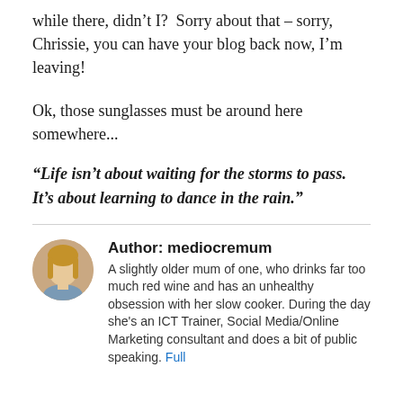while there, didn't I?  Sorry about that – sorry, Chrissie, you can have your blog back now, I'm leaving!
Ok, those sunglasses must be around here somewhere...
“Life isn’t about waiting for the storms to pass. It’s about learning to dance in the rain.”
Author: mediocremum
A slightly older mum of one, who drinks far too much red wine and has an unhealthy obsession with her slow cooker. During the day she's an ICT Trainer, Social Media/Online Marketing consultant and does a bit of public speaking. Full